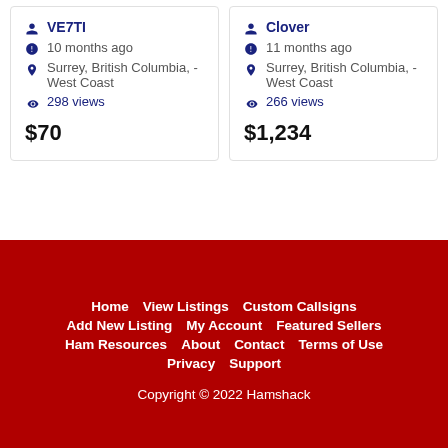VE7TI
10 months ago
Surrey, British Columbia, - West Coast
298 views
$70
Clover
11 months ago
Surrey, British Columbia, - West Coast
266 views
$1,234
Home | View Listings | Custom Callsigns | Add New Listing | My Account | Featured Sellers | Ham Resources | About | Contact | Terms of Use | Privacy | Support
Copyright © 2022 Hamshack